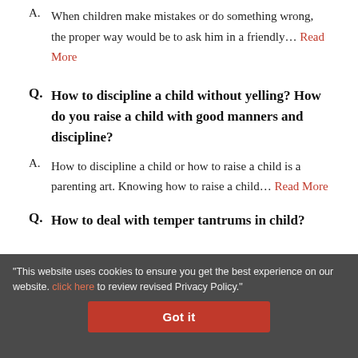A. When children make mistakes or do something wrong, the proper way would be to ask him in a friendly... Read More
Q. How to discipline a child without yelling? How do you raise a child with good manners and discipline?
A. How to discipline a child or how to raise a child is a parenting art. Knowing how to raise a child... Read More
Q. How to deal with temper tantrums in child?
"This website uses cookies to ensure you get the best experience on our website. click here to review revised Privacy Policy."
Got it